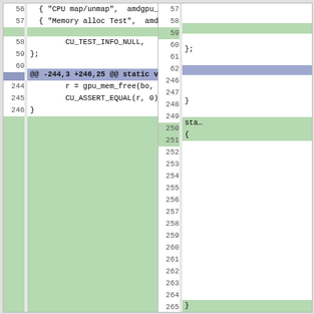[Figure (screenshot): A code diff view showing two columns (left: old file, right: new file). Lines 56-60 on the left and 57-62 on the right show C code with an array of test functions. A hunk header shows '@@ -244,3 +246,25 @@ static void amdgpu_memory_alloc(void)'. Lines 244-246 left show gpu_mem_free and CU_ASSERT_EQUAL code. The right panel shows lines 246-270 with new added code (shown in green background). The deleted block on left (246+) and added block on right are shown in green.]